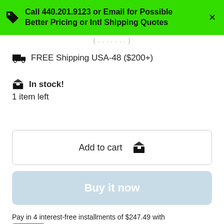Call 440.201.9123 or Email for Possible Better Pricing or Intl Shipping Quotes
FREE Shipping USA-48 ($200+)
In stock!
1 item left
Add to cart
Buy it now
Pay in 4 interest-free installments of $247.49 with shop Pay Learn more